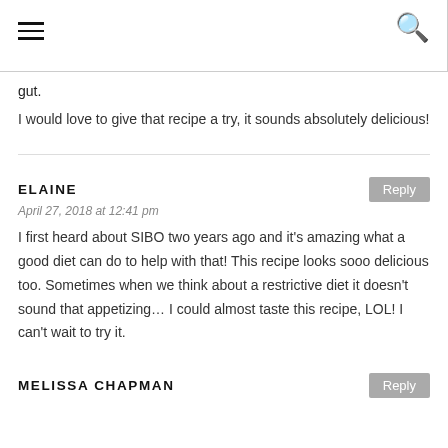≡  🔍
gut.
I would love to give that recipe a try, it sounds absolutely delicious!
ELAINE
April 27, 2018 at 12:41 pm
I first heard about SIBO two years ago and it's amazing what a good diet can do to help with that! This recipe looks sooo delicious too. Sometimes when we think about a restrictive diet it doesn't sound that appetizing... I could almost taste this recipe, LOL! I can't wait to try it.
MELISSA CHAPMAN